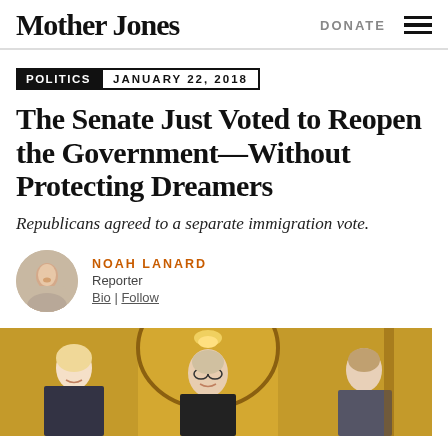Mother Jones | DONATE
POLITICS  JANUARY 22, 2018
The Senate Just Voted to Reopen the Government—Without Protecting Dreamers
Republicans agreed to a separate immigration vote.
NOAH LANARD
Reporter
Bio | Follow
[Figure (photo): Photo of politicians at the US Capitol, including Mitch McConnell]